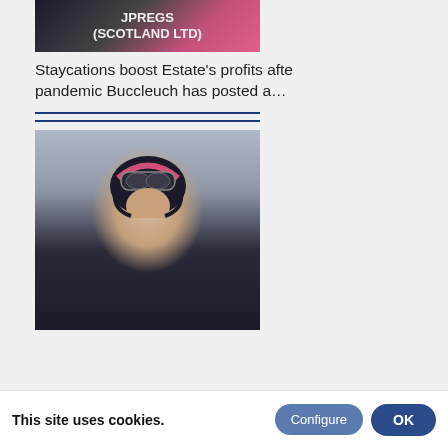[Figure (photo): Partial photo of a jockey in pink and black silks, cropped at top showing logo text 'JPREGS (SCOTLAND LTD)']
Staycations boost Estate's profits after pandemic Buccleuch has posted a…
[Figure (photo): Portrait photo of a male jockey wearing a black and pink helmet with goggles, dressed in black and pink racing silks]
[Figure (photo): Partial bottom image showing jockey silks with JPREGS logo]
This site uses cookies.